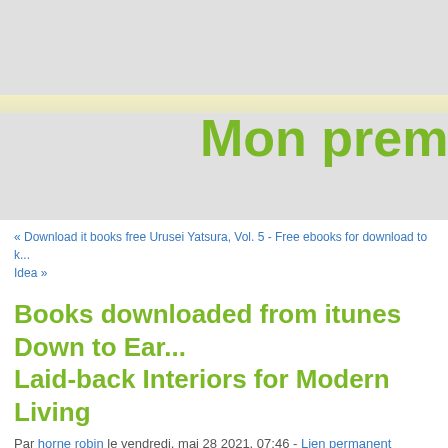[Figure (other): Website header banner with light gray background, a yellowish horizontal bar, and large bold green text reading 'Mon premie' (partially cropped)]
« Download it books free Urusei Yatsura, Vol. 5 - Free ebooks for download to k... Idea »
Books downloaded from itunes Down to Ear... Laid-back Interiors for Modern Living
Par horne robin le vendredi, mai 28 2021, 07:46 - Lien permanent
Down to Earth: Laid-back Interiors for Modern Living... Liess